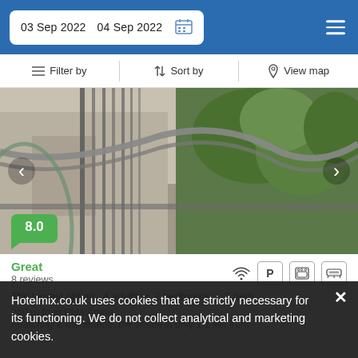03 Sep 2022  04 Sep 2022
Filter by  Sort by  View map
[Figure (photo): Outdoor balcony railing with metal bars, architectural detail with green trees in background]
8.0
Great
8 reviews
The largest option:  4 adults  •  2 bedrooms  •  3 beds
200 m from Pula Arena
Featuring a kitchenette, the venue is only 1.1 km from
Hotelmix.co.uk uses cookies that are strictly necessary for its functioning. We do not collect analytical and marketing cookies.